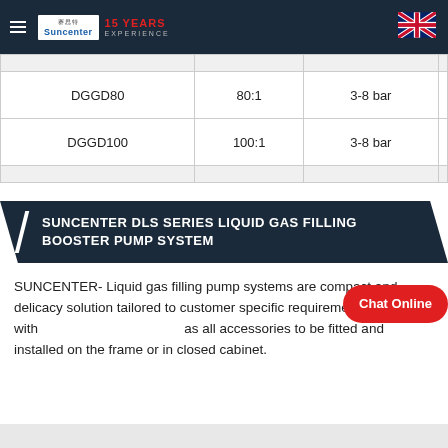Suncenter 15 YEARS EXPERIENCE
|  |  |  |  |
| --- | --- | --- | --- |
|  |  |  |  |
| DGGD80 | 80:1 | 3-8 bar |  |
| DGGD100 | 100:1 | 3-8 bar |  |
|  |  |  |  |
SUNCENTER DLS SERIES LIQUID GAS FILLING BOOSTER PUMP SYSTEM
SUNCENTER- Liquid gas filling pump systems are compact and delicacy solution tailored to customer specific requirements with as all accessories to be fitted and installed on the frame or in closed cabinet.